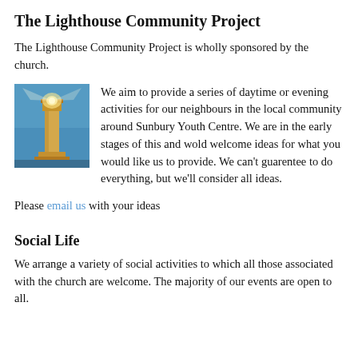The Lighthouse Community Project
The Lighthouse Community Project is wholly sponsored by the church.
[Figure (photo): Photo of a lighthouse with a glowing light at the top against a blue sky]
We aim to provide a series of daytime or evening activities for our neighbours in the local community around Sunbury Youth Centre. We are in the early stages of this and wold welcome ideas for what you would like us to provide. We can't guarentee to do everything, but we'll consider all ideas.
Please email us with your ideas
Social Life
We arrange a variety of social activities to which all those associated with the church are welcome. The majority of our events are open to all.